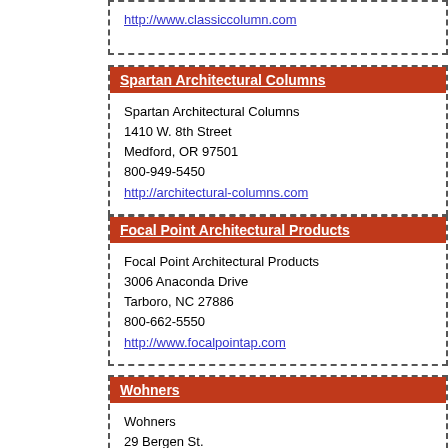http://www.classiccolumn.com
Spartan Architectural Columns
Spartan Architectural Columns
1410 W. 8th Street
Medford, OR 97501
800-949-5450
http://architectural-columns.com
Focal Point Architectural Products
Focal Point Architectural Products
3006 Anaconda Drive
Tarboro, NC 27886
800-662-5550
http://www.focalpointap.com
Wohners
Wohners
29 Bergen St.
Englewood, NJ 7631
(201) 568-7307
http://www.wohners.com